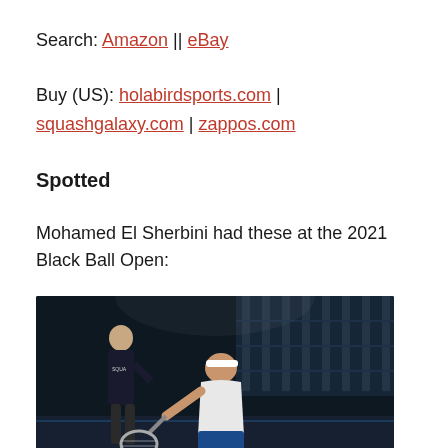Search: Amazon || eBay
Buy (US): holabirdsports.com | squashgalaxy.com | zappos.com
Spotted
Mohamed El Sherbini had these at the 2021 Black Ball Open:
[Figure (photo): Two squash players on a dimly lit court. The foreground player in a white shirt and blue shorts is bent low holding a racket. A second player in a dark shirt stands in the background.]